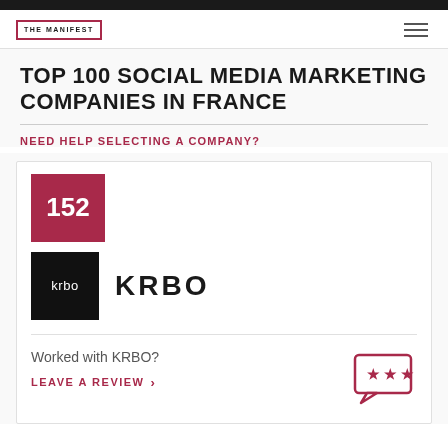THE MANIFEST
TOP 100 SOCIAL MEDIA MARKETING COMPANIES IN FRANCE
NEED HELP SELECTING A COMPANY?
152
[Figure (logo): KRBO company logo — white text 'krbo' on black background]
KRBO
Worked with KRBO?
LEAVE A REVIEW >
[Figure (illustration): Chat bubble icon with three stars inside]